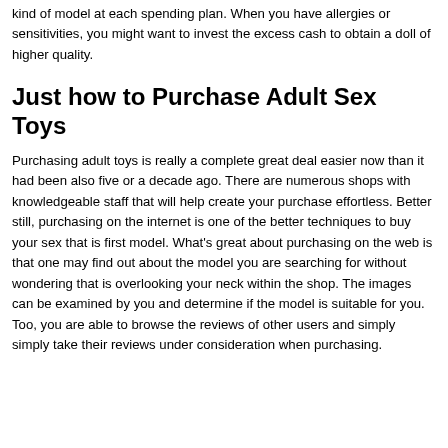kind of model at each spending plan. When you have allergies or sensitivities, you might want to invest the excess cash to obtain a doll of higher quality.
Just how to Purchase Adult Sex Toys
Purchasing adult toys is really a complete great deal easier now than it had been also five or a decade ago. There are numerous shops with knowledgeable staff that will help create your purchase effortless. Better still, purchasing on the internet is one of the better techniques to buy your sex that is first model. What's great about purchasing on the web is that one may find out about the model you are searching for without wondering that is overlooking your neck within the shop. The images can be examined by you and determine if the model is suitable for you. Too, you are able to browse the reviews of other users and simply simply take their reviews under consideration when purchasing.